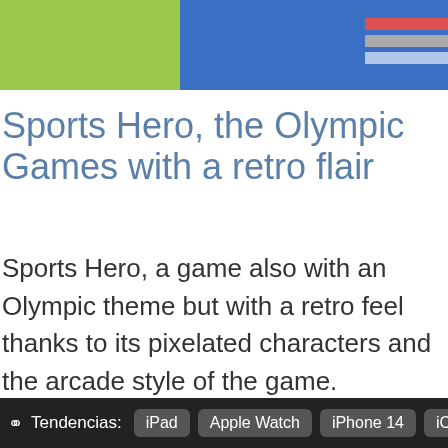[Figure (screenshot): Top banner with green section on left, blue section on right with horizontal stripes (red, gray, light blue) and bold white pixelated text reading PLAYER VS. PLAYER ACTION!]
Sports Hero, the Olympic Games with a retro flair
Sports Hero, a game also with an Olympic theme but with a retro feel thanks to its pixelated characters and the arcade style of the game.
Tendencias: iPad   Apple Watch   iPhone 14   iC